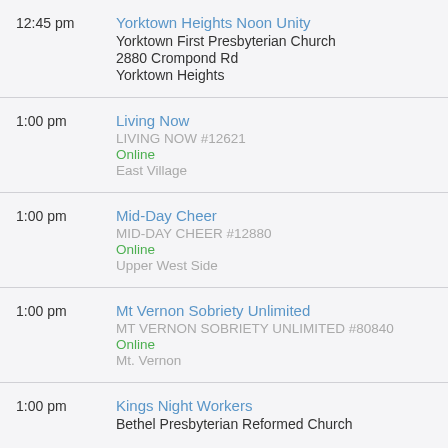12:45 pm | Yorktown Heights Noon Unity | Yorktown First Presbyterian Church | 2880 Crompond Rd | Yorktown Heights
1:00 pm | Living Now | LIVING NOW #12621 | Online | East Village
1:00 pm | Mid-Day Cheer | MID-DAY CHEER #12880 | Online | Upper West Side
1:00 pm | Mt Vernon Sobriety Unlimited | MT VERNON SOBRIETY UNLIMITED #80840 | Online | Mt. Vernon
1:00 pm | Kings Night Workers | Bethel Presbyterian Reformed Church